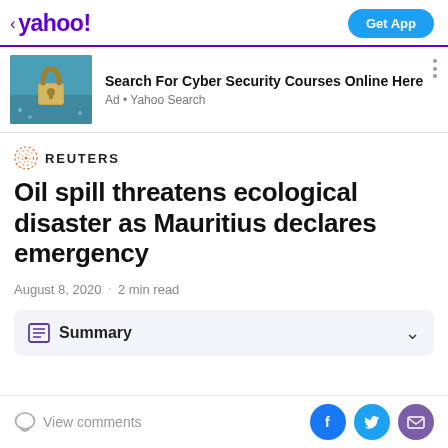< yahoo! | Get App
[Figure (screenshot): Ad banner with padlock image for cyber security courses]
Search For Cyber Security Courses Online Here
Ad • Yahoo Search
REUTERS
Oil spill threatens ecological disaster as Mauritius declares emergency
August 8, 2020  ·  2 min read
Summary
View comments | Facebook | Twitter | Mail